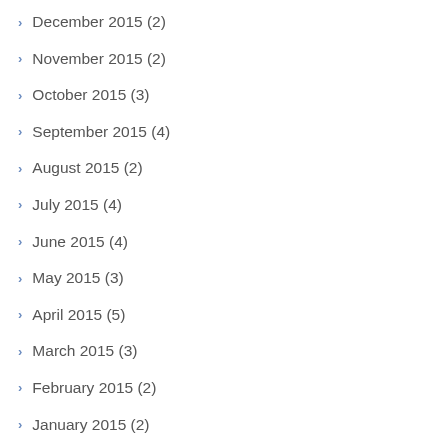December 2015 (2)
November 2015 (2)
October 2015 (3)
September 2015 (4)
August 2015 (2)
July 2015 (4)
June 2015 (4)
May 2015 (3)
April 2015 (5)
March 2015 (3)
February 2015 (2)
January 2015 (2)
December 2014 (2)
November 2014 (2)